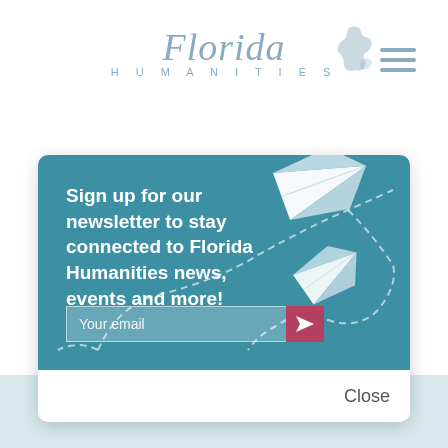[Figure (logo): Florida Humanities logo with stylized Florida map silhouette, teal text]
[Figure (illustration): Hamburger menu icon (three horizontal lines) in teal/gray]
[Figure (illustration): Newsletter signup modal card with teal background, two paper airplane illustrations with dashed flight paths, email input field with send button, and Close button]
Sign up for our newsletter to stay connected to Florida Humanities news, events and more!
Your email
Close